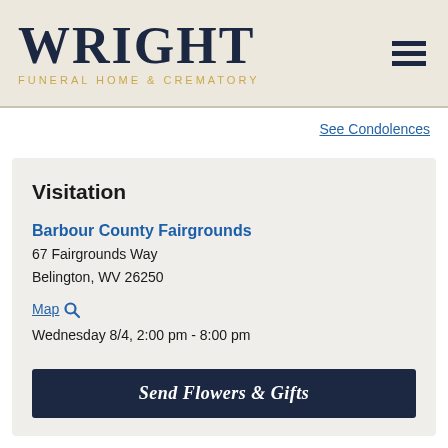[Figure (logo): Wright Funeral Home & Crematory logo — large dark navy serif WRIGHT text with gold subtitle]
See Condolences
Visitation
Barbour County Fairgrounds
67 Fairgrounds Way
Belington, WV 26250
Map
Wednesday 8/4, 2:00 pm - 8:00 pm
Send Flowers & Gifts